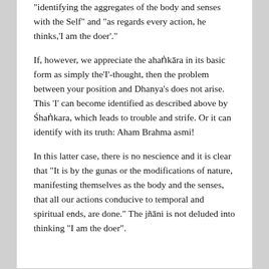“identifying the aggregates of the body and senses with the Self” and “as regards every action, he thinks,‘I am the doer’.”
If, however, we appreciate the ahaṅkāra in its basic form as simply the‘I’-thought, then the problem between your position and Dhanya’s does not arise. This ‘I’ can become identified as described above by Ś haṅkara, which leads to trouble and strife. Or it can identify with its truth: Aham Brahma asmi!
In this latter case, there is no nescience and it is clear that “It is by the gunas or the modifications of nature, manifesting themselves as the body and the senses, that all our actions conducive to temporal and spiritual ends, are done.” The jñāni is not deluded into thinking “I am the doer”.